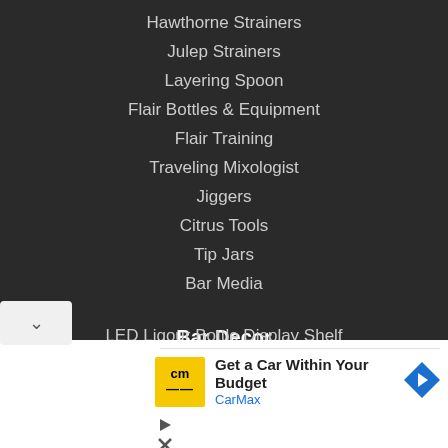Hawthorne Strainers
Julep Strainers
Layering Spoon
Flair Bottles & Equipment
Flair Training
Traveling Mixologist
Jiggers
Citrus Tools
Tip Jars
Bar Media
Bar Decor
LED Liqour Bottle Display Shelf
[Figure (other): CarMax advertisement with yellow CM logo, headline 'Get a Car Within Your Budget', brand name 'CarMax', blue navigation arrow icon, with play and close control icons below]